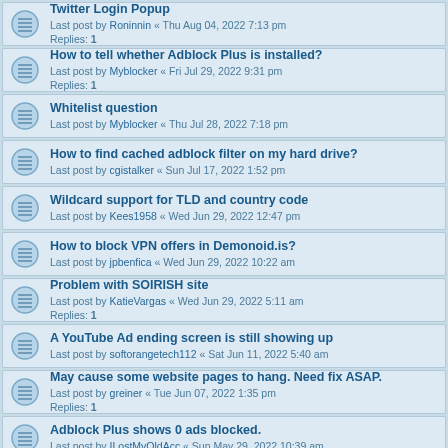Twitter Login Popup
Last post by Roninnin « Thu Aug 04, 2022 7:13 pm
Replies: 1
How to tell whether Adblock Plus is installed?
Last post by Myblocker « Fri Jul 29, 2022 9:31 pm
Replies: 1
Whitelist question
Last post by Myblocker « Thu Jul 28, 2022 7:18 pm
How to find cached adblock filter on my hard drive?
Last post by cgistalker « Sun Jul 17, 2022 1:52 pm
Wildcard support for TLD and country code
Last post by Kees1958 « Wed Jun 29, 2022 12:47 pm
How to block VPN offers in Demonoid.is?
Last post by jpbenfica « Wed Jun 29, 2022 10:22 am
Problem with SOIRISH site
Last post by KatieVargas « Wed Jun 29, 2022 5:11 am
Replies: 1
A YouTube Ad ending screen is still showing up
Last post by softorangetech112 « Sat Jun 11, 2022 5:40 am
May cause some website pages to hang. Need fix ASAP.
Last post by greiner « Tue Jun 07, 2022 1:35 pm
Replies: 1
Adblock Plus shows 0 ads blocked.
Last post by ILostMyOldAcc « Sun May 29, 2022 10:39 am